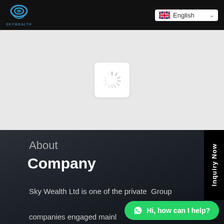SkyWealth logo and English language selector
[Figure (screenshot): Loading spinner icon on light grey background]
About
Company
Sky Wealth Ltd is one of the private Group companies engaged mainly and exporter in Hong Kong since 1988. We
[Figure (other): Inquiry Now vertical sidebar tab on right edge]
[Figure (other): WhatsApp Hi, how can I help? green chat bubble]